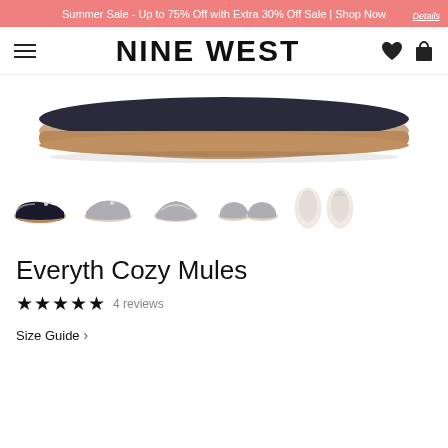Summer Sale - Up to 75% Off with Extra 30% Off Sale | Shop Now
NINE WEST
[Figure (photo): Bottom sole view of a dark mule shoe on a tan/brown footbed, shown at an angle from above]
[Figure (photo): Thumbnail strip showing five views of the Everyth Cozy Mule: side view (dark), angled side view (faded), front angled view (faded), pair side view (faded), bottom/sole view (faded light)]
Everyth Cozy Mules
★★★★★ 4 reviews
Size Guide >